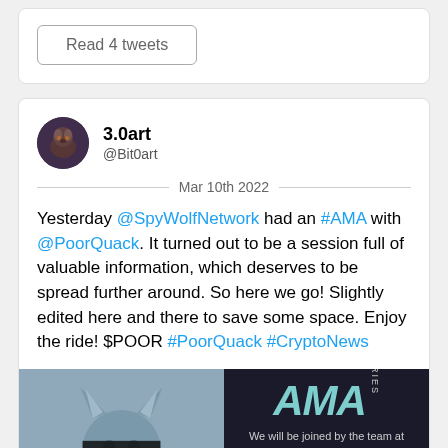Read 4 tweets
3.0art @Bit0art Mar 10th 2022
Yesterday @SpyWolfNetwork had an #AMA with @PoorQuack. It turned out to be a session full of valuable information, which deserves to be spread further around. So here we go! Slightly edited here and there to save some space. Enjoy the ride! $POOR #PoorQuack #CryptoNews
[Figure (illustration): AMA Series promotional image: left half shows a wolf figure in business attire with eyes censored by a black bar on a blue-grey background; right half shows 'AMA SERIES' text in teal on dark background with 'We will be joined by the team at' text and 'POOR QUACK' in yellow bold italic.]